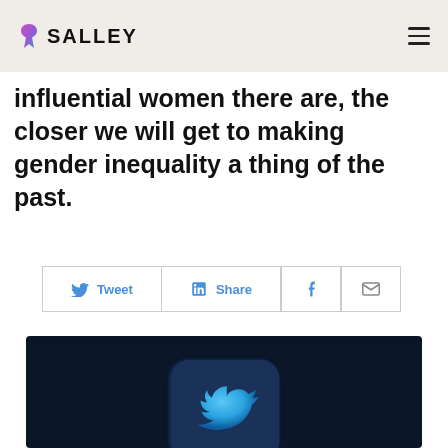SALLEY
influential women there are, the closer we will get to making gender inequality a thing of the past.
[Figure (screenshot): Social media share buttons row: Tweet (Twitter), Share (LinkedIn), Facebook, Email]
[Figure (photo): Dark navy blue background with a 3D rendered Twitter bird logo icon in blue, partially visible at bottom of frame]